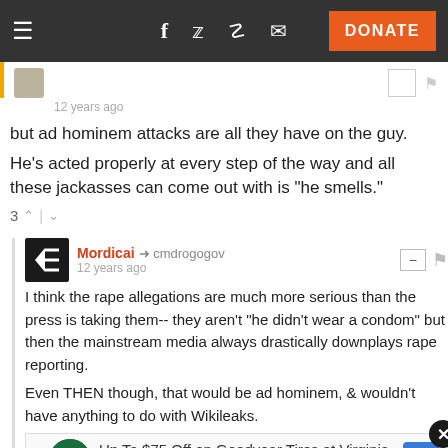Navigation bar with hamburger menu, Facebook, Twitter, Reddit, email icons, and DONATE button
12 years ago
but ad hominem attacks are all they have on the guy.
He's acted properly at every step of the way and all these jackasses can come out with is "he smells."
3
Mordicai → cmdrogogov
12 years ago
I think the rape allegations are much more serious than the press is taking them-- they aren't "he didn't wear a condom" but then the mainstream media always drastically downplays rape reporting.

Even THEN though, that would be ad hominem, & wouldn't have anything to do with Wikileaks.
[Figure (other): Advertisement banner: Up To $75 Off on Goodyear Tires at Virginia Tire & Auto]